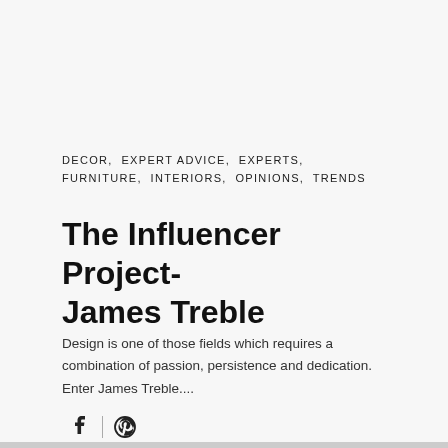DECOR,  EXPERT ADVICE,  EXPERTS,  FURNITURE,  INTERIORS,  OPINIONS,  TRENDS
The Influencer Project- James Treble
Design is one of those fields which requires a combination of passion, persistence and dedication. Enter James Treble....
[Figure (infographic): Social share icons: Facebook (f) and Pinterest (P) with a vertical divider between them]